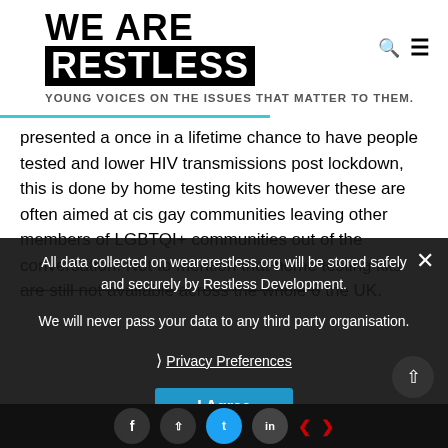[Figure (logo): We Are Restless logo — 'WE ARE' in black bold text, 'RESTLESS' in white text on black background rectangle. Search icon and hamburger menu icon to the right.]
YOUNG VOICES ON THE ISSUES THAT MATTER TO THEM.
presented a once in a lifetime chance to have people tested and lower HIV transmissions post lockdown, this is done by home testing kits however these are often aimed at cis gay communities leaving other members of LGBTQI+ communities out of the conversation. Not to mention that home testing kits are still not available across the whole of the UK.
All data collected on wearerestless.org will be stored safely and securely by Restless Development.

We will never pass your data to any third party organisation.
❯ Privacy Preferences
I Agree